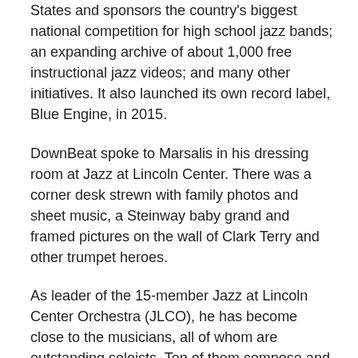States and sponsors the country's biggest national competition for high school jazz bands; an expanding archive of about 1,000 free instructional jazz videos; and many other initiatives. It also launched its own record label, Blue Engine, in 2015.
DownBeat spoke to Marsalis in his dressing room at Jazz at Lincoln Center. There was a corner desk strewn with family photos and sheet music, a Steinway baby grand and framed pictures on the wall of Clark Terry and other trumpet heroes.
As leader of the 15-member Jazz at Lincoln Center Orchestra (JLCO), he has become close to the musicians, all of whom are outstanding soloists. Ten of them compose and arrange for the ensemble. At any given performance, most of the arrangements and many of the compositions are by orchestra members, with the strong encouragement of Marsalis.
“I've been surrounded by absolute killers for a long time,”